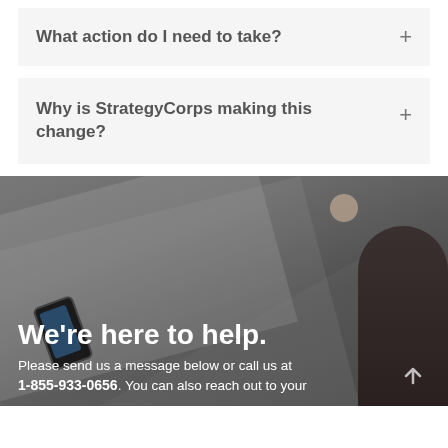What action do I need to take?
Why is StrategyCorps making this change?
[Figure (photo): Dark grey background photo showing a person from behind with dark hair, a smartphone, and a desk surface with a round object (coffee cup). Overlay text reads 'We're here to help.' with a support message below.]
We're here to help.
Please send us a message below or call us at 1-855-933-0656. You can also reach out to your